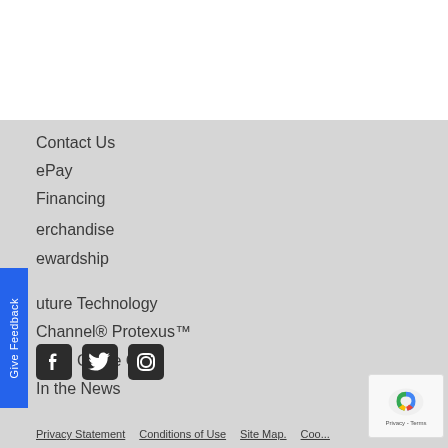Contact Us
ePay
Financing
erchandise
ewardship
uture Technology
Channel® Protexus™
Food Grade Corn
In the News
[Figure (illustration): Social media icons: Facebook, Twitter, Instagram]
Privacy Statement   Conditions of Use   Site Map.   Cookie...
[Figure (logo): reCAPTCHA badge with Privacy - Terms]